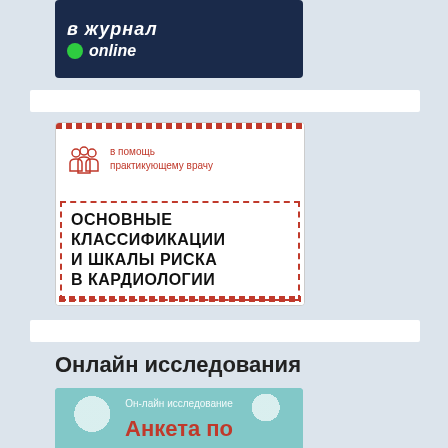[Figure (logo): Dark navy blue banner with italic white text 'в журнал' and green dot with white italic 'online' text]
[Figure (illustration): Book cover: 'в помощь практикующему врачу' with people icon in red, title 'ОСНОВНЫЕ КЛАССИФИКАЦИИ И ШКАЛЫ РИСКА В КАРДИОЛОГИИ' in large bold black text, red dashed border]
Онлайн исследования
[Figure (illustration): Teal floral background card with text 'Он-лайн исследование' and 'Анкета по оценке' in salmon/red color]